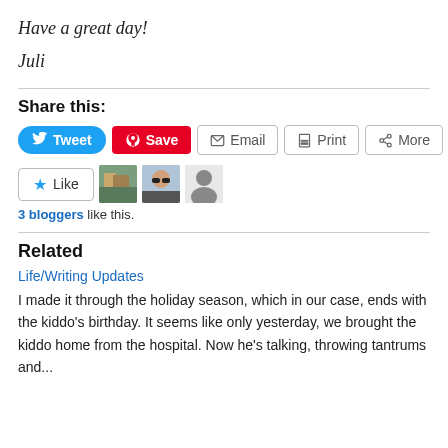Have a great day!
Juli
Share this:
[Figure (other): Social share buttons: Tweet (Twitter, blue), Save (Pinterest, red), Email (outline), Print (outline), More (outline)]
[Figure (other): Like button with star icon and three blogger avatar images]
3 bloggers like this.
Related
Life/Writing Updates
I made it through the holiday season, which in our case, ends with the kiddo's birthday.  It seems like only yesterday, we brought the kiddo home from the hospital. Now he's talking, throwing tantrums and...